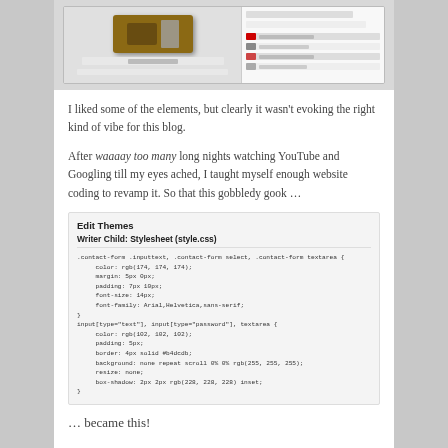[Figure (screenshot): Screenshot of a blog/website showing a product image (tins/containers) on the left and a sidebar with recent posts on the right]
I liked some of the elements, but clearly it wasn't evoking the right kind of vibe for this blog.
After waaaay too many long nights watching YouTube and Googling till my eyes ached, I taught myself enough website coding to revamp it. So that this gobbledy gook …
[Figure (screenshot): Screenshot of WordPress Edit Themes panel showing Writer Child Stylesheet (style.css) with CSS code for contact-form and input elements]
… became this!